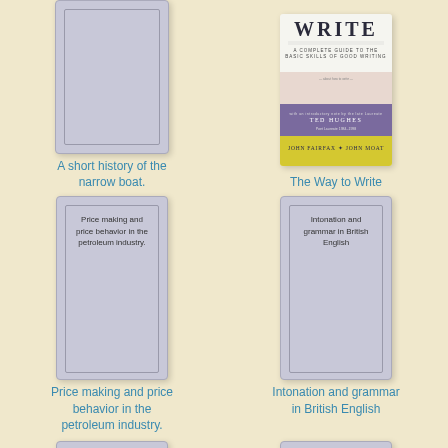[Figure (illustration): Book cover placeholder for 'A short history of the narrow boat' - plain gray cover]
A short history of the narrow boat.
[Figure (photo): Book cover for 'The Way to Write' by John Fairfax and John Moat, with foreword by Ted Hughes. White top section with title, purple middle band, yellow bottom band.]
The Way to Write
[Figure (illustration): Book cover placeholder for 'Price making and price behavior in the petroleum industry.' - plain gray cover with title text]
Price making and price behavior in the petroleum industry.
[Figure (illustration): Book cover placeholder for 'Intonation and grammar in British English' - plain gray cover with title text]
Intonation and grammar in British English